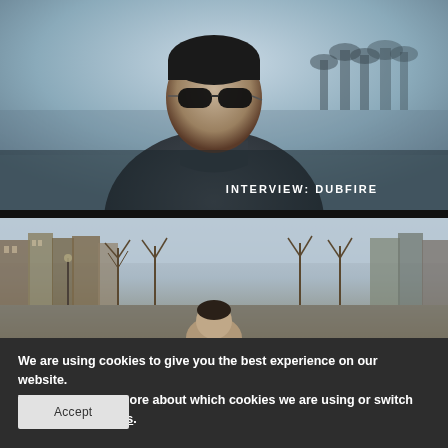[Figure (photo): A man wearing dark sunglasses and a dark grey top, photographed outdoors with a hazy sky and distant palm trees/waterfront in the background. White text overlay reads 'INTERVIEW: DUBFIRE'.]
[Figure (photo): A person photographed outdoors in front of an Amsterdam canal cityscape with classical buildings, bare winter trees, and a domed building in the background.]
We are using cookies to give you the best experience on our website.
You can find out more about which cookies we are using or switch them off in settings.
Accept